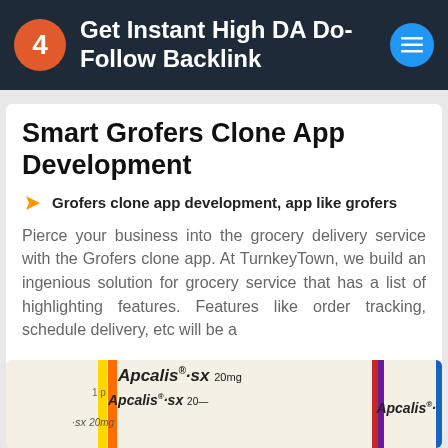4 Get Instant High DA Do-Follow Backlink
Smart Grofers Clone App Development
Grofers clone app development, app like grofers
Pierce your business into the grocery delivery service with the Grofers clone app. At TurnkeyTown, we build an ingenious solution for grocery service that has a list of highlighting features. Features like order tracking, schedule delivery, etc will be a
Like 0   Dislike 0
SHARE NOW
[Figure (photo): Apcalis-SX 20mg medicine packaging photo showing multiple boxes and blister packs with One Week Pack Vol.1 label]